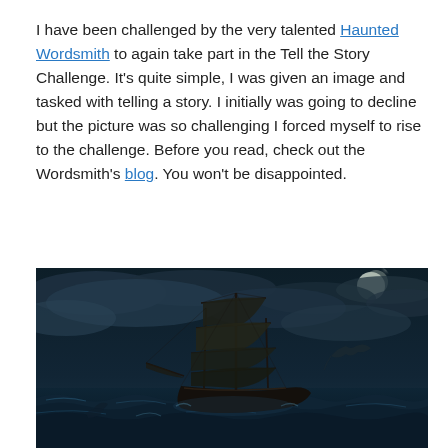I have been challenged by the very talented Haunted Wordsmith to again take part in the Tell the Story Challenge. It's quite simple, I was given an image and tasked with telling a story. I initially was going to decline but the picture was so challenging I forced myself to rise to the challenge. Before you read, check out the Wordsmith's blog. You won't be disappointed.
[Figure (illustration): Dark atmospheric fantasy illustration of a large old sailing ship with tattered sails navigating stormy seas under a cloudy night sky with a full moon. Dramatic lighting with teal/blue tones, sea creatures or figures in the turbulent water below.]